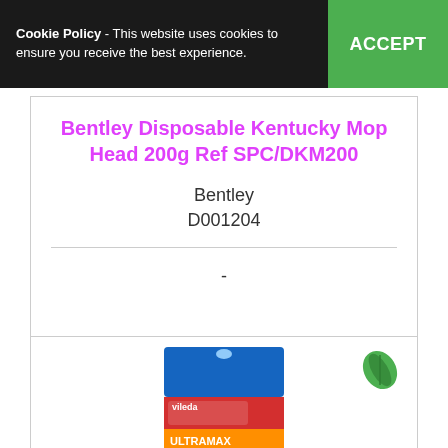Cookie Policy - This website uses cookies to ensure you receive the best experience. ACCEPT
Bentley Disposable Kentucky Mop Head 200g Ref SPC/DKM200
Bentley
D001204
-
COMPARE
[Figure (photo): Vileda UltraMax mop head product packaging with green leaf eco icon in top right corner]